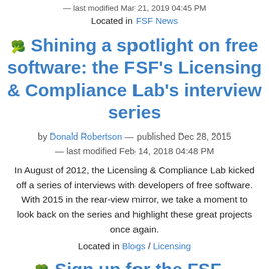— last modified Mar 21, 2019 04:45 PM
Located in FSF News
Shining a spotlight on free software: the FSF's Licensing & Compliance Lab's interview series
by Donald Robertson — published Dec 28, 2015 — last modified Feb 14, 2018 04:48 PM
In August of 2012, the Licensing & Compliance Lab kicked off a series of interviews with developers of free software. With 2015 in the rear-view mirror, we take a moment to look back on the series and highlight these great projects once again.
Located in Blogs / Licensing
Sign up for the FSF...